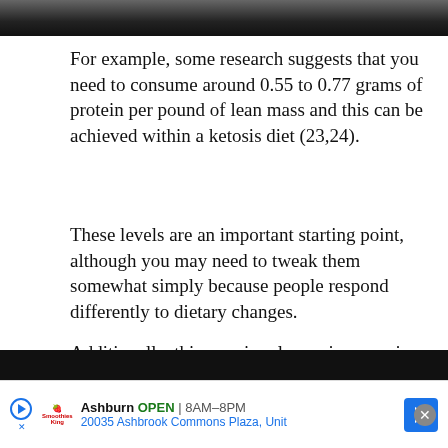[Figure (photo): Partial top image, dark/grayscale photo cropped at top of page]
For example, some research suggests that you need to consume around 0.55 to 0.77 grams of protein per pound of lean mass and this can be achieved within a ketosis diet (23,24).
These levels are an important starting point, although you may need to tweak them somewhat simply because people respond differently to dietary changes.
Additionally, this may involve an increase in protein intake for some people and a decrease for others, depending on what you were eating previously.
Now, in theory, you could decrease your protein
[Figure (other): Advertisement bar: Smoothie King, Ashburn OPEN 8AM-8PM, 20035 Ashbrook Commons Plaza, Unit, with navigation arrow and close button]